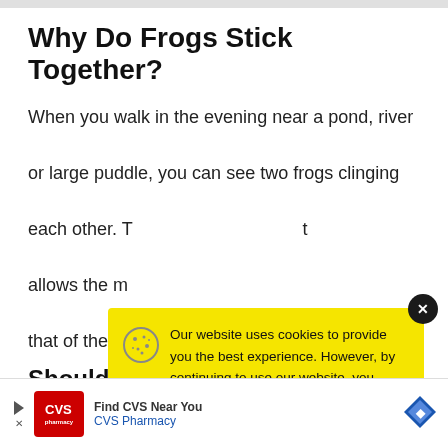Why Do Frogs Stick Together?
When you walk in the evening near a pond, river or large puddle, you can see two frogs clinging each other. T[...]t allows the m[...] that of the fe[...]
Should I... From Th[...]
[Figure (screenshot): Cookie consent modal popup with yellow background. Contains cookie icon, text about website cookie usage, a link to Cookie Policy, and a black Accept button. Has a dark close button in top-right corner.]
[Figure (screenshot): Advertisement bar at bottom with CVS Pharmacy logo and arrow navigation icons.]